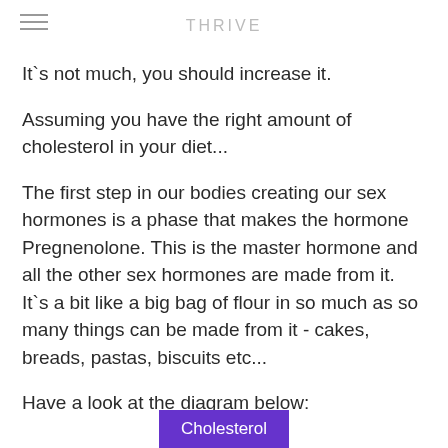THRIVE
It`s not much, you should increase it.
Assuming you have the right amount of cholesterol in your diet...
The first step in our bodies creating our sex hormones is a phase that makes the hormone Pregnenolone. This is the master hormone and all the other sex hormones are made from it.  It`s a bit like a big bag of flour in so much as so many things can be made from it - cakes, breads, pastas, biscuits etc...
Have a look at the diagram below:
[Figure (other): Cholesterol box (purple/violet background with white text) at bottom of page, beginning of a hormone pathway diagram]